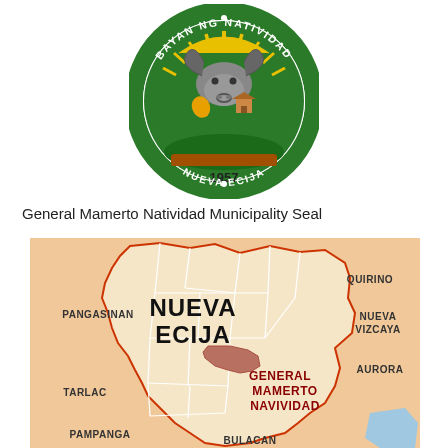[Figure (logo): Municipal seal of General Mamerto Natividad, Nueva Ecija. Circular seal with green border, text 'BAYAN NG NATIVIDAD' around top, '1957' and 'NUEVA ECIJA' at bottom, carabao head and agricultural imagery in center.]
General Mamerto Natividad Municipality Seal
[Figure (map): Map showing Nueva Ecija province in the Philippines with General Mamerto Natividad municipality highlighted in brown/red. Surrounding areas labeled: PANGASINAN (left), QUIRINO (upper right), NUEVA VIZCAYA (right), AURORA (right), TARLAC (lower left), PAMPANGA (bottom left), BULACAN (bottom center). The province label NUEVA ECIJA appears in large bold black text. GENERAL MAMERTO NAVIVIDAD label appears in dark red bold text pointing to the highlighted municipality.]